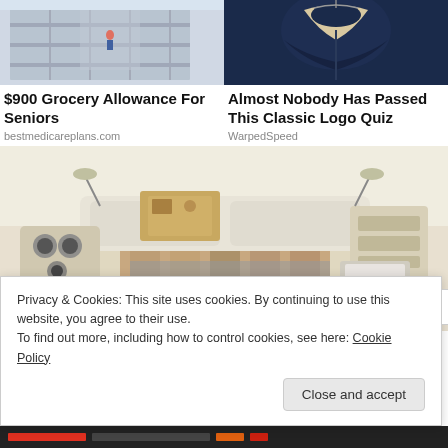[Figure (photo): Top-left ad image: building staircase/balcony view]
[Figure (photo): Top-right ad image: dark navy jacket/clothing on hanger]
$900 Grocery Allowance For Seniors
bestmedicareplans.com
Almost Nobody Has Passed This Classic Logo Quiz
WarpedSpeed
[Figure (photo): Smart bed / multi-functional furniture with speakers and storage]
Privacy & Cookies: This site uses cookies. By continuing to use this website, you agree to their use.
To find out more, including how to control cookies, see here: Cookie Policy
Close and accept